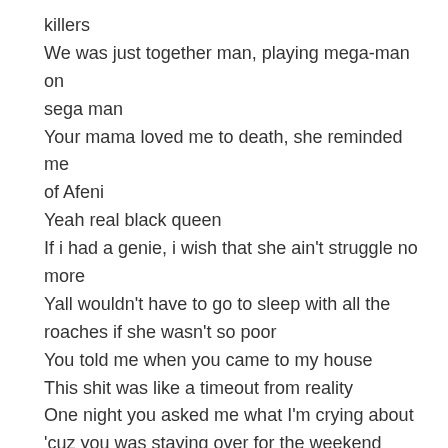killers
We was just together man, playing mega-man on sega man
Your mama loved me to death, she reminded me of Afeni
Yeah real black queen
If i had a genie, i wish that she ain't struggle no more
Yall wouldn't have to go to sleep with all the roaches if she wasn't so poor
You told me when you came to my house
This shit was like a timeout from reality
One night you asked me what I'm crying about
'cuz you was staying over for the weekend
I woke up from out my sleep